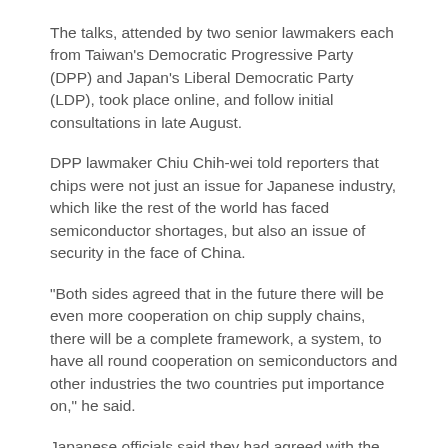The talks, attended by two senior lawmakers each from Taiwan's Democratic Progressive Party (DPP) and Japan's Liberal Democratic Party (LDP), took place online, and follow initial consultations in late August.
DPP lawmaker Chiu Chih-wei told reporters that chips were not just an issue for Japanese industry, which like the rest of the world has faced semiconductor shortages, but also an issue of security in the face of China.
"Both sides agreed that in the future there will be even more cooperation on chip supply chains, there will be a complete framework, a system, to have all round cooperation on semiconductors and other industries the two countries put importance on," he said.
Japanese officials said they had agreed with the Taiwan side that both they as well as the United States needed to cooperate to build resilient